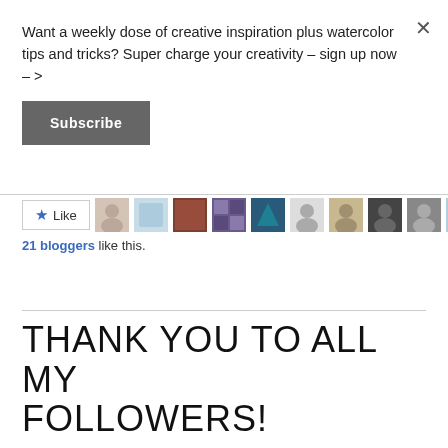Want a weekly dose of creative inspiration plus watercolor tips and tricks? Super charge your creativity – sign up now – >
Subscribe
[Figure (other): Like button with star icon followed by a row of 10 blogger avatar thumbnails]
21 bloggers like this.
THANK YOU TO ALL MY FOLLOWERS!
JULY 8, 2014